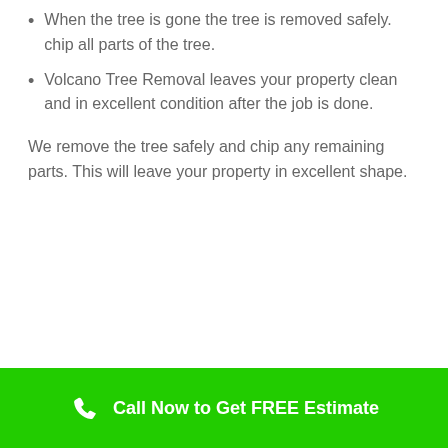When the tree is gone the tree is removed safely. chip all parts of the tree.
Volcano Tree Removal leaves your property clean and in excellent condition after the job is done.
We remove the tree safely and chip any remaining parts. This will leave your property in excellent shape.
Call Now to Get FREE Estimate